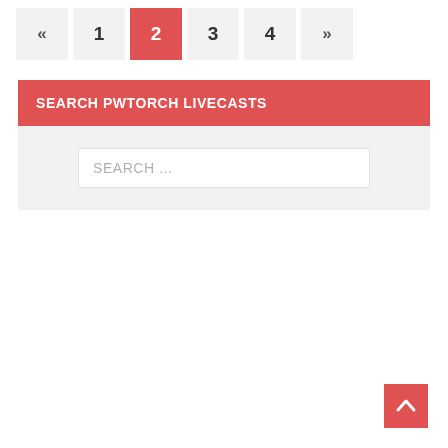« 1 2 3 4 »
SEARCH PWTORCH LIVECASTS
SEARCH ...